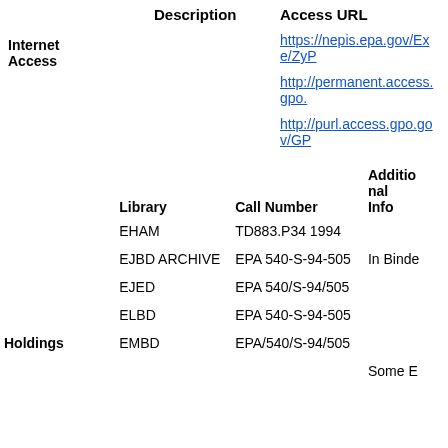|  | Description | Access URL |
| --- | --- | --- |
| Internet Access |  | https://nepis.epa.gov/Exe/ZyP... |
|  |  | http://permanent.access.gpo.... |
|  |  | http://purl.access.gpo.gov/GP... |
|  | Library | Call Number | Additional Info |
| --- | --- | --- | --- |
|  | EHAM | TD883.P34 1994 |  |
|  | EJBD ARCHIVE | EPA 540-S-94-505 | In Binde... |
|  | EJED | EPA 540/S-94/505 |  |
|  | ELBD | EPA 540-S-94-505 |  |
| Holdings | EMBD | EPA/540/S-94/505 |  |
|  |  |  | Some E... |